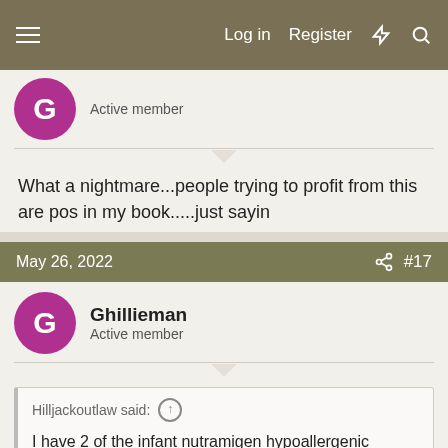Log in  Register
Active member
What a nightmare...people trying to profit from this are pos in my book.....just sayin
May 26, 2022  #17
Ghillieman
Active member
Hilljackoutlaw said:
I have 2 of the infant nutramigen hypoallergenic formulas that my son won't have none of that I'll send to anybody that needs it.
Now theres someone with their heart in the right place. Good for you...